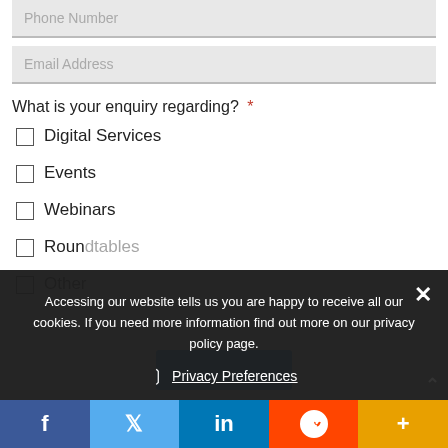Phone Number
Email Address
What is your enquiry regarding? *
Digital Services
Events
Webinars
Roundtables
Other
Accessing our website tells us you are happy to receive all our cookies. If you need more information find out more on our privacy policy page.
Privacy Preferences